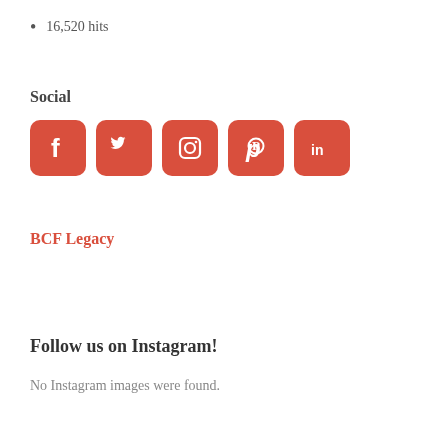16,520 hits
Social
[Figure (infographic): Five social media icon buttons in red/coral rounded squares: Facebook (f), Twitter (bird), Instagram (camera), Pinterest (P), LinkedIn (in)]
BCF Legacy
Follow us on Instagram!
No Instagram images were found.